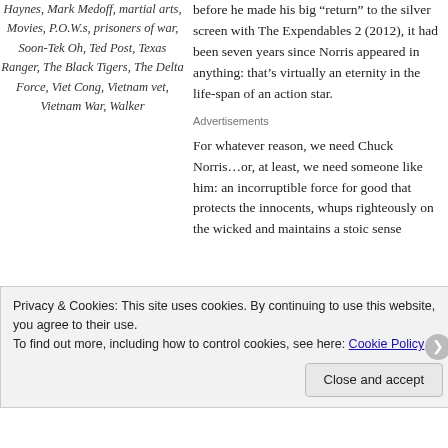Haynes, Mark Medoff, martial arts, Movies, P.O.W.s, prisoners of war, Soon-Tek Oh, Ted Post, Texas Ranger, The Black Tigers, The Delta Force, Viet Cong, Vietnam vet, Vietnam War, Walker
before he made his big “return” to the silver screen with The Expendables 2 (2012), it had been seven years since Norris appeared in anything: that’s virtually an eternity in the life-span of an action star.
Advertisements
For whatever reason, we need Chuck Norris…or, at least, we need someone like him: an incorruptible force for good that protects the innocents, whups righteously on the wicked and maintains a stoic sense
Privacy & Cookies: This site uses cookies. By continuing to use this website, you agree to their use. To find out more, including how to control cookies, see here: Cookie Policy
Close and accept